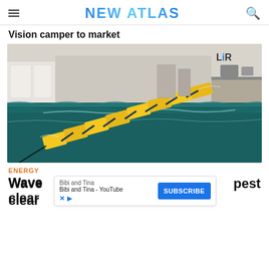NEW ATLAS
Vision camper to market
[Figure (photo): A wave energy converter device — yellow modular floats connected in a chain — being tested in an indoor wave tank facility (LiR). The tank has teal-green water with waves, and the yellow segmented device floats diagonally across the test basin.]
ENERGY
Wave pest clear
Bibi and Tina
Bibi and Tina - YouTube
SUBSCRIBE